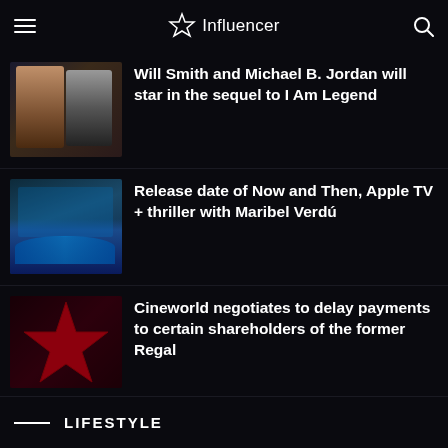MOVIES
Influencer
Will Smith and Michael B. Jordan will star in the sequel to I Am Legend
Release date of Now and Then, Apple TV + thriller with Maribel Verdú
Cineworld negotiates to delay payments to certain shareholders of the former Regal
LIFESTYLE